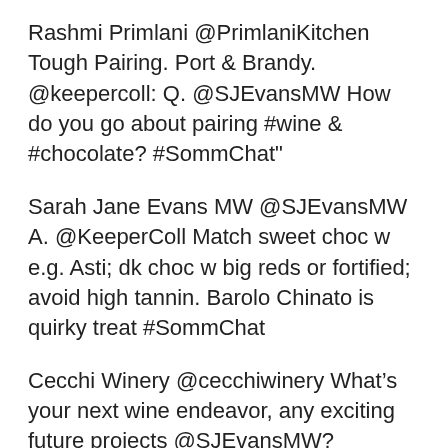Rashmi Primlani @PrimlaniKitchen Tough Pairing. Port & Brandy. @keepercoll: Q. @SJEvansMW How do you go about pairing #wine & #chocolate? #SommChat"
Sarah Jane Evans MW @SJEvansMW A. @KeeperColl Match sweet choc w e.g. Asti; dk choc w big reds or fortified; avoid high tannin. Barolo Chinato is quirky treat #SommChat
Cecchi Winery @cecchiwinery What's your next wine endeavor, any exciting future projects @SJEvansMW? #SommChat
Sarah Jane Evans MW @SJEvansMW @cecchiwinery Plenty: off to NZ, CA, UK vineyards; interviews @Decanter; presentations to wineries; a very busy few months :) #SommChat